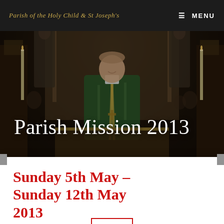Parish of the Holy Child & St Joseph's | MENU
[Figure (photo): A priest in green vestments standing at a church altar with ornate carved stonework, candles, and religious statues in the background. The image is dark-toned with warm brown hues.]
Parish Mission 2013
Sunday 5th May – Sunday 12th May 2013